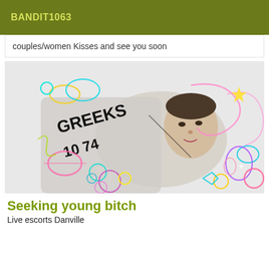BANDIT1063
couples/women Kisses and see you soon
[Figure (photo): Person lying down wearing a hoodie with decorative neon doodle overlays including planets, stars, and swirls]
Seeking young bitch
Live escorts Danville